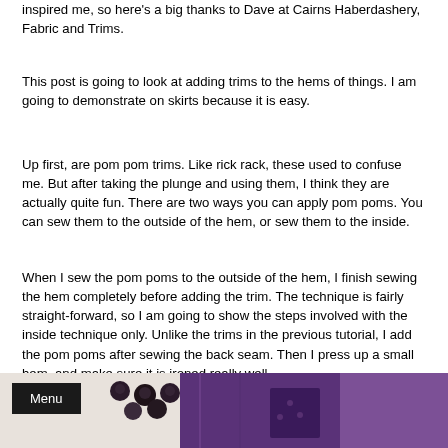inspired me, so here's a big thanks to Dave at Cairns Haberdashery, Fabric and Trims.
This post is going to look at adding trims to the hems of things. I am going to demonstrate on skirts because it is easy.
Up first, are pom pom trims. Like rick rack, these used to confuse me. But after taking the plunge and using them, I think they are actually quite fun. There are two ways you can apply pom poms. You can sew them to the outside of the hem, or sew them to the inside.
When I sew the pom poms to the outside of the hem, I finish sewing the hem completely before adding the trim. The technique is fairly straight-forward, so I am going to show the steps involved with the inside technique only. Unlike the trims in the previous tutorial, I add the pom poms after sewing the back seam. Then I press up a small hem, and make sure it is ironed really well.
[Figure (photo): Bottom portion of image showing purple fabric with dark pom pom trims, and a black 'Menu' button overlay in the bottom left corner.]